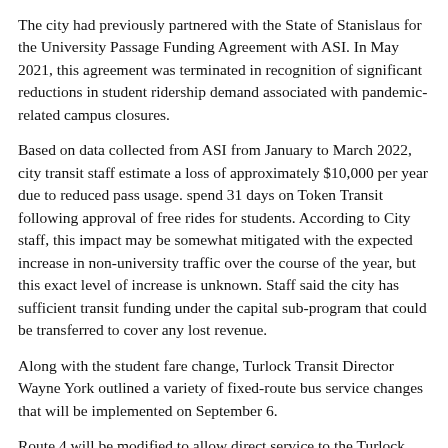The city had previously partnered with the State of Stanislaus for the University Passage Funding Agreement with ASI. In May 2021, this agreement was terminated in recognition of significant reductions in student ridership demand associated with pandemic-related campus closures.
Based on data collected from ASI from January to March 2022, city transit staff estimate a loss of approximately $10,000 per year due to reduced pass usage. spend 31 days on Token Transit following approval of free rides for students. According to City staff, this impact may be somewhat mitigated with the expected increase in non-university traffic over the course of the year, but this exact level of increase is unknown. Staff said the city has sufficient transit funding under the capital sub-program that could be transferred to cover any lost revenue.
Along with the student fare change, Turlock Transit Director Wayne York outlined a variety of fixed-route bus service changes that will be implemented on September 6.
Route 4 will be modified to allow direct service to the Turlock Library and Senior Center.
“We will modify (Route 4) to serve the library directly. This is a request that actually came out of the latest short-haul transit plan